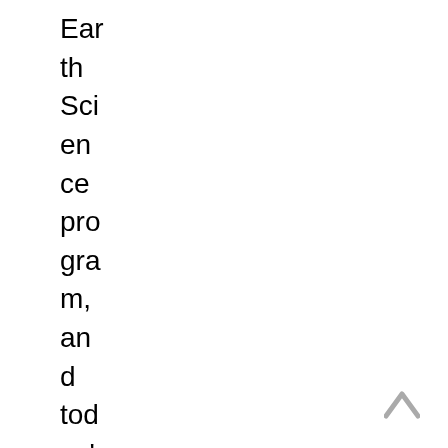Earth Science program, and today's successful
[Figure (other): Upward-pointing chevron/arrow icon in grey, bottom-right corner]